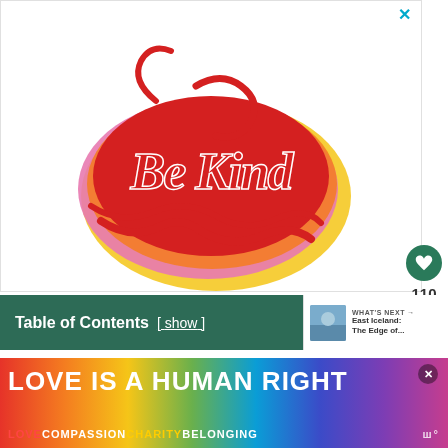[Figure (illustration): Decorative lettering illustration reading 'Be Kind' in ornate red cursive script with pink, orange, and yellow layered shadow effects on a white background]
Table of Contents [ show ]
WHAT'S NEXT → East Iceland: The Edge of...
[Figure (infographic): Colorful rainbow banner advertisement reading 'LOVE IS A HUMAN RIGHT' with subtext 'LOVE COMPASSION CHARITY BELONGING' on a multicolored gradient background]